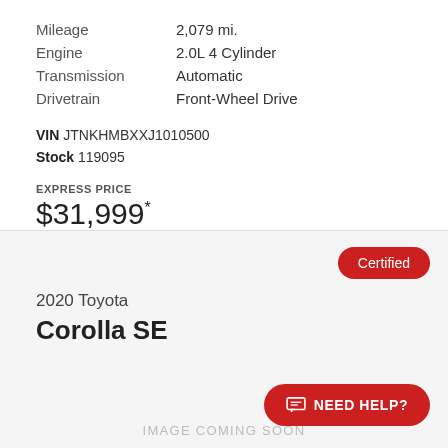| Mileage | 2,079 mi. |
| Engine | 2.0L 4 Cylinder |
| Transmission | Automatic |
| Drivetrain | Front-Wheel Drive |
VIN JTNKHMBXXJ1010500
Stock 119095
EXPRESS PRICE
$31,999*
Certified
2020 Toyota
Corolla SE
IMAGE COMING SOON
NEED HELP?